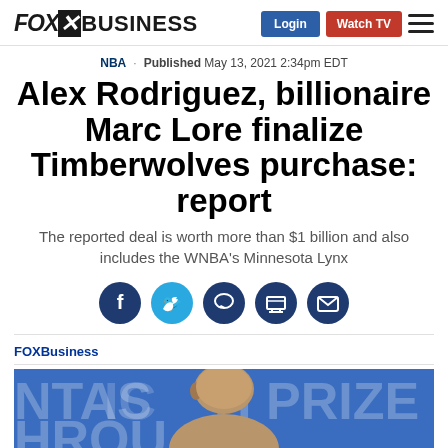FOX Business - Login | Watch TV
NBA · Published May 13, 2021 2:34pm EDT
Alex Rodriguez, billionaire Marc Lore finalize Timberwolves purchase: report
The reported deal is worth more than $1 billion and also includes the WNBA's Minnesota Lynx
[Figure (infographic): Social share icons: Facebook, Twitter, Chat, Print, Email]
FOXBusiness
[Figure (photo): Photo of a man (Alex Rodriguez) in front of a blurred background with text reading 'PHYSICS' and 'PRIZE']